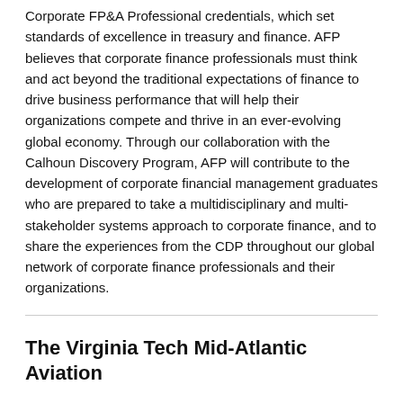Corporate FP&A Professional credentials, which set standards of excellence in treasury and finance. AFP believes that corporate finance professionals must think and act beyond the traditional expectations of finance to drive business performance that will help their organizations compete and thrive in an ever-evolving global economy. Through our collaboration with the Calhoun Discovery Program, AFP will contribute to the development of corporate financial management graduates who are prepared to take a multidisciplinary and multi-stakeholder systems approach to corporate finance, and to share the experiences from the CDP throughout our global network of corporate finance professionals and their organizations.
The Virginia Tech Mid-Atlantic Aviation